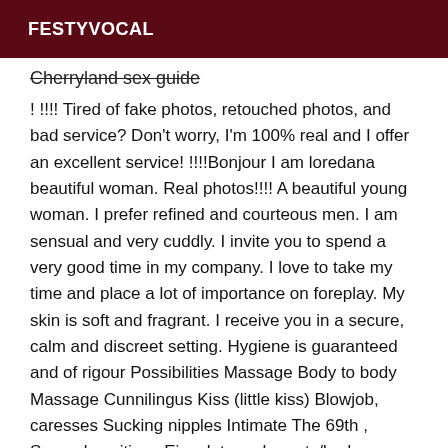FESTYVOCAL
Cherryland sex guide
! !!!! Tired of fake photos, retouched photos, and bad service? Don't worry, I'm 100% real and I offer an excellent service! !!!!Bonjour I am loredana beautiful woman. Real photos!!!! A beautiful young woman. I prefer refined and courteous men. I am sensual and very cuddly. I invite you to spend a very good time in my company. I love to take my time and place a lot of importance on foreplay. My skin is soft and fragrant. I receive you in a secure, calm and discreet setting. Hygiene is guaranteed and of rigour Possibilities Massage Body to body Massage Cunnilingus Kiss (little kiss) Blowjob, caresses Sucking nipples Intimate The 69th , Several positions Ejaculate on breasts/body Spanish Masturbation Several orgasms Sex with condom Extrabal MY RATES ARE NOT ITS NEGOTIABLE ANY ATTEMPT WILL BE REFUSED. Please call me 1 hour before to make an appointment